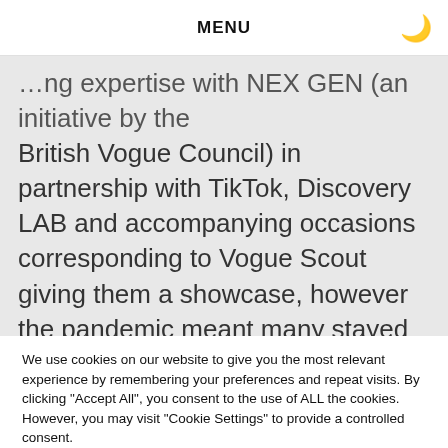MENU
...ng expertise with NEX GEN (an initiative by the British Vogue Council) in partnership with TikTok, Discovery LAB and accompanying occasions corresponding to Vogue Scout giving them a showcase, however the pandemic meant many stayed house, others organised a digital occasion whereas some migrated to Milan and different vogue occasions
We use cookies on our website to give you the most relevant experience by remembering your preferences and repeat visits. By clicking "Accept All", you consent to the use of ALL the cookies. However, you may visit "Cookie Settings" to provide a controlled consent.